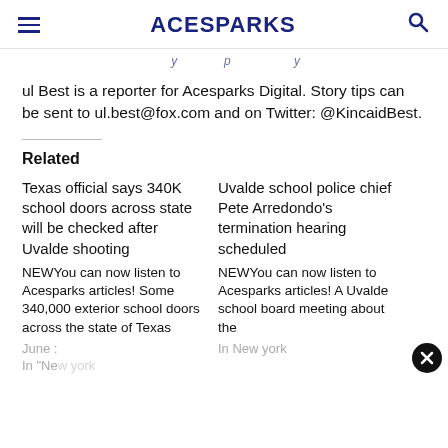ACESPARKS
ul Best is a reporter for Acesparks Digital. Story tips can be sent to ul.best@fox.com and on Twitter: @KincaidBest.
Related
Texas official says 340K school doors across state will be checked after Uvalde shooting
NEWYou can now listen to Acesparks articles! Some 340,000 exterior school doors across the state of Texas
June :
In "New york
Uvalde school police chief Pete Arredondo's termination hearing scheduled
NEWYou can now listen to Acesparks articles! A Uvalde school board meeting about the
In New york